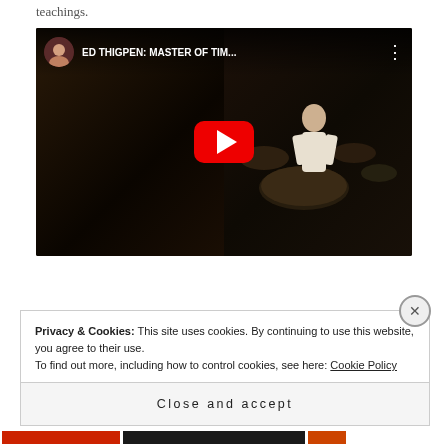teachings.
[Figure (screenshot): YouTube video thumbnail showing 'ED THIGPEN: MASTER OF TIM...' with a play button overlay. Left half shows a dark figure, right half shows a drummer at a drum kit. YouTube-style top bar with avatar and title.]
Privacy & Cookies: This site uses cookies. By continuing to use this website, you agree to their use.
To find out more, including how to control cookies, see here: Cookie Policy
Close and accept